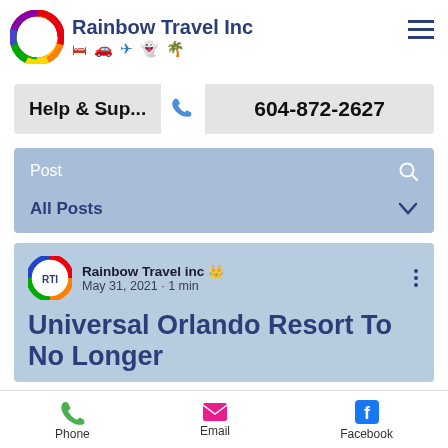[Figure (logo): Rainbow Travel Inc logo with rainbow circular icon and travel icons (bed, car, plane, ghost, palm tree)]
Help & Sup...  604-872-2627
Post
All Posts
[Figure (screenshot): Blog post card: Rainbow Travel inc, May 31, 2021, 1 min. Title: Universal Orlando Resort To No Longer...]
Phone  Email  Facebook